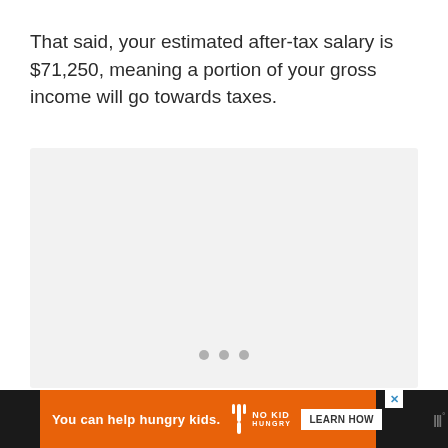That said, your estimated after-tax salary is $71,250, meaning a portion of your gross income will go towards taxes.
[Figure (other): A light gray placeholder rectangle with three gray dots at the bottom center, indicating a loading or ad placement area.]
[Figure (other): Advertisement banner at the bottom: dark background with orange ad section reading 'You can help hungry kids.' with No Kid Hungry logo and a 'LEARN HOW' button. A close (X) button and a logo on the right side.]